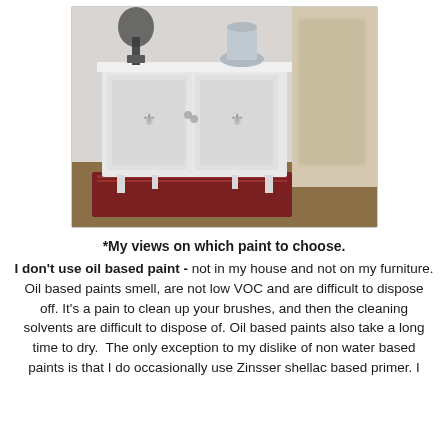[Figure (photo): Photograph of a white painted cabinet/sideboard with two doors featuring fleur-de-lis hardware. The cabinet has tapered legs and sits on a wooden floor with a red rug. A lamp and decorative items are on top. A door is visible in the background.]
*My views on which paint to choose.
I don't use oil based paint - not in my house and not on my furniture. Oil based paints smell, are not low VOC and are difficult to dispose off. It's a pain to clean up your brushes, and then the cleaning solvents are difficult to dispose of. Oil based paints also take a long time to dry.  The only exception to my dislike of non water based paints is that I do occasionally use Zinsser shellac based primer. I